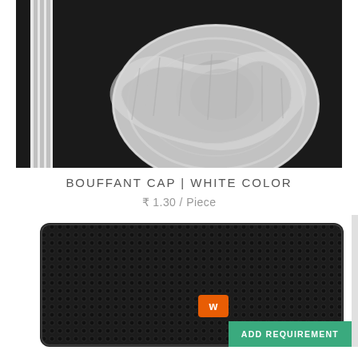[Figure (photo): Bouffant cap white color on black background, showing circular pleated disposable hair cap with elastic band]
BOUFFANT CAP | WHITE COLOR
₹ 1.30 / Piece
[Figure (photo): Black mesh fabric product with orange logo badge, partial view on white background]
ADD REQUIREMENT